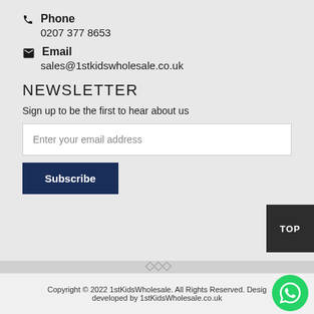Phone
0207 377 8653
Email
sales@1stkidswholesale.co.uk
NEWSLETTER
Sign up to be the first to hear about us
Enter your email address
Subscribe
TOP
Copyright © 2022 1stKidsWholesale. All Rights Reserved. Design developed by 1stKidsWholesale.co.uk